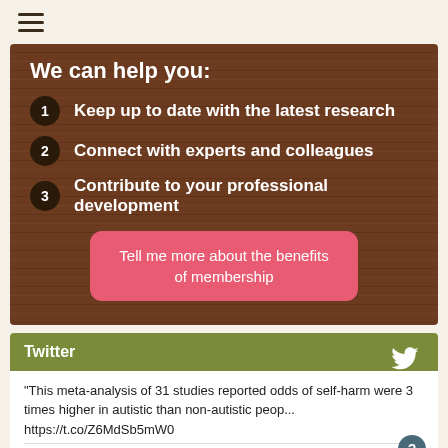[Figure (other): Hamburger menu icon (three horizontal lines)]
We can help you:
Keep up to date with the latest research
Connect with experts and colleagues
Contribute to your professional development
Tell me more about the benefits of membership
Twitter
"This meta-analysis of 31 studies reported odds of self-harm were 3 times higher in autistic than non-autistic peop... https://t.co/Z6MdSb5mW0
Reply   Retweet   Favorite | about 1 hour ago